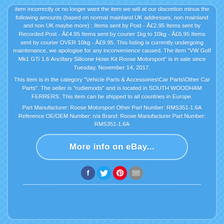item incorrectly or no longer want the item we will at our discretion minus the following amounts (based on normal mainland UK addresses, non mainland and non UK maybe more) : Items sent by Post - &#xC2;&#xA3;2.95 Items sent by Recorded Post - &#xC2;&#xA3;4.95 Items sent by courier 1kg to 10kg - &#xC2;&#xA3;6.95 Items sent by courier OVER 10kg - &#xC2;&#xA3;9.95. This listing is currently undergoing maintenance, we apologise for any inconvenience caused. The item "VW Golf Mk1 GTi 1.6 Ancillary Silicone Hose Kit Roose Motorsport" is in sale since Tuesday, November 14, 2017.
This item is in the category "Vehicle Parts & Accessories\Car Parts\Other Car Parts". The seller is "rudiemods" and is located in SOUTH WOODHAM FERRERS. This item can be shipped to all countries in Europe.
Part Manufacturer: Roose Motorsport Other Part Number: RMS351-1.6A Reference OE/OEM Number: n/a Brand: Roose Manufacturer Part Number: RMS351-1.6A
[Figure (other): eBay button - 'More info on eBay...' rounded rectangle button]